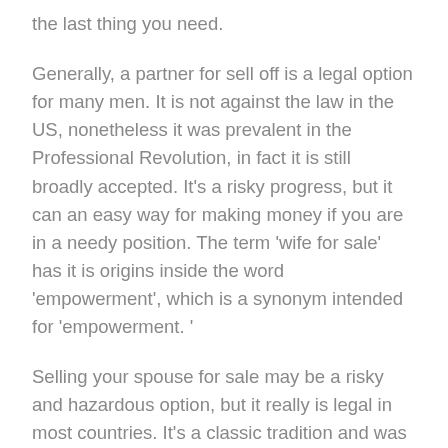the last thing you need.
Generally, a partner for sell off is a legal option for many men. It is not against the law in the US, nonetheless it was prevalent in the Professional Revolution, in fact it is still broadly accepted. It’s a risky progress, but it can an easy way for making money if you are in a needy position. The term ‘wife for sale’ has it is origins inside the word ‘empowerment’, which is a synonym intended for ‘empowerment. ‘
Selling your spouse for sale may be a risky and hazardous option, but it really is legal in most countries. It’s a classic tradition and was common in the Commercial Revolution. This can be a common approach to make cash for those that are desperate, although it’s not at all times a good idea. Should your husband